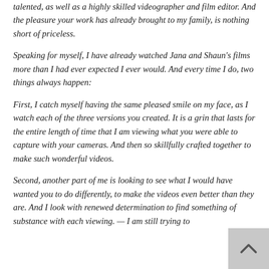talented, as well as a highly skilled videographer and film editor. And the pleasure your work has already brought to my family, is nothing short of priceless.
Speaking for myself, I have already watched Jana and Shaun's films more than I had ever expected I ever would. And every time I do, two things always happen:
First, I catch myself having the same pleased smile on my face, as I watch each of the three versions you created. It is a grin that lasts for the entire length of time that I am viewing what you were able to capture with your cameras. And then so skillfully crafted together to make such wonderful videos.
Second, another part of me is looking to see what I would have wanted you to do differently, to make the videos even better than they are. And I look with renewed determination to find something of substance with each viewing. — I am still trying to